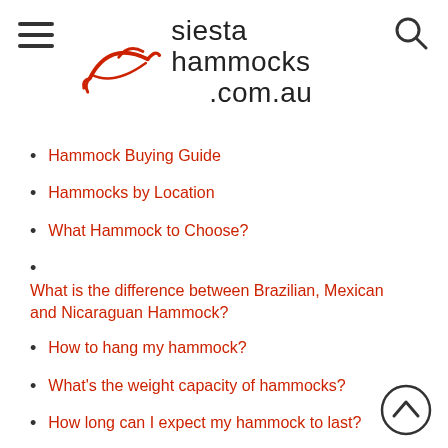siesta hammocks .com.au
Hammock Buying Guide
Hammocks by Location
What Hammock to Choose?
What is the difference between Brazilian, Mexican and Nicaraguan Hammock?
How to hang my hammock?
What's the weight capacity of hammocks?
How long can I expect my hammock to last?
What is the difference between...